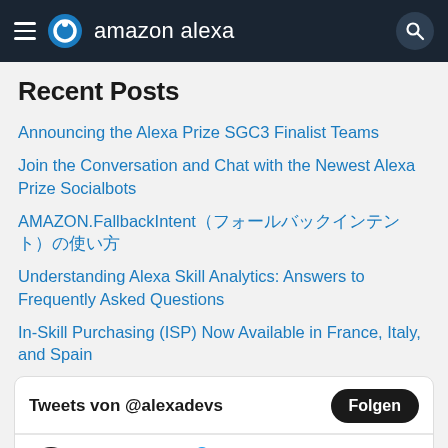amazon alexa
Recent Posts
Announcing the Alexa Prize SGC3 Finalist Teams
Join the Conversation and Chat with the Newest Alexa Prize Socialbots
AMAZON.FallbackIntent（フォールバックインテント）の使い方
Understanding Alexa Skill Analytics: Answers to Frequently Asked Questions
In-Skill Purchasing (ISP) Now Available in France, Italy, and Spain
[Figure (screenshot): Twitter widget showing Tweets von @alexadevs with a Folgen button, and a tweet from Alexa Develop... @alexad... on 2. Sep. replying to @alexadevs: Remember to tune in next week, September 6th at 9AM PT for the next live episode.]